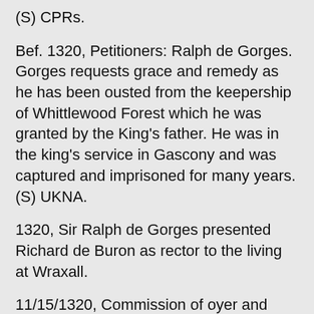(S) CPRs.
Bef. 1320, Petitioners: Ralph de Gorges. Gorges requests grace and remedy as he has been ousted from the keepership of Whittlewood Forest which he was granted by the King's father. He was in the king's service in Gascony and was captured and imprisoned for many years. (S) UKNA.
1320, Sir Ralph de Gorges presented Richard de Buron as rector to the living at Wraxall.
11/15/1320, Commission of oyer and terminer … petition exhibited before the king and Council, of Ralph de Gorges, alleging that divers trespasses and other malpractices under the colour of office had been committed as against the king, Edward, earl of Chester, and lord of the Isle of Wight, his son, … by Henry le Tyeys … constable of the said